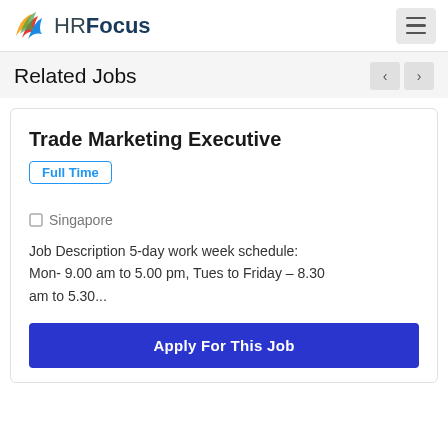HRFocus
Related Jobs
Trade Marketing Executive
Full Time
Singapore
Job Description 5-day work week schedule: Mon- 9.00 am to 5.00 pm, Tues to Friday – 8.30 am to 5.30...
Apply For This Job